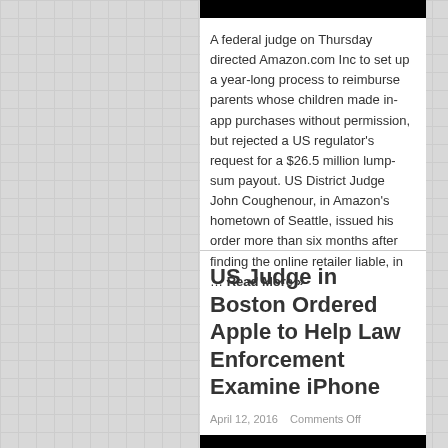[Figure (photo): Black image bar at top of first article]
A federal judge on Thursday directed Amazon.com Inc to set up a year-long process to reimburse parents whose children made in-app purchases without permission, but rejected a US regulator's request for a $26.5 million lump-sum payout. US District Judge John Coughenour, in Amazon's hometown of Seattle, issued his order more than six months after finding the online retailer liable, in … Read More »
US Judge in Boston Ordered Apple to Help Law Enforcement Examine iPhone
April 12, 2016   Comments Off
[Figure (photo): Black image bar at bottom of second article]